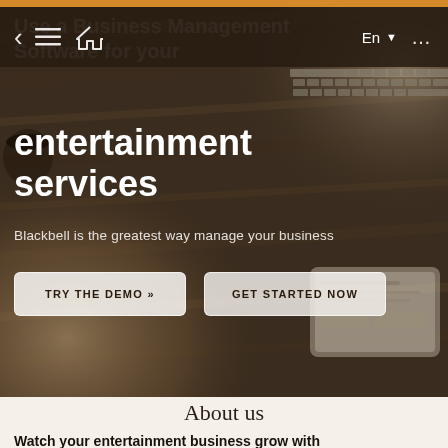[Figure (screenshot): Website screenshot showing a business management software landing page for Blackbell entertainment services. Has a dark wood-texture hero image with a person's hand, laptop keyboard visible top right, and a tablet visible bottom right.]
Use a Business Management Software for your
entertainment services
Blackbell is the greatest way manage your business
TRY THE DEMO »
GET STARTED NOW
About us
Watch your entertainment business grow with